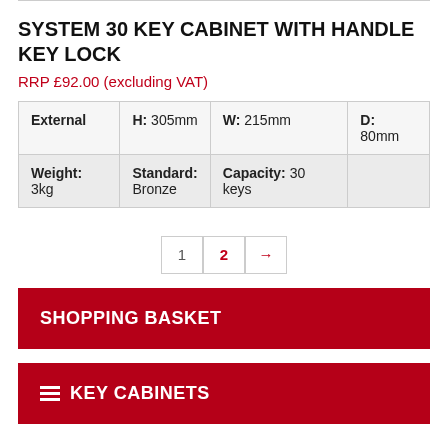SYSTEM 30 KEY CABINET WITH HANDLE KEY LOCK
RRP £92.00 (excluding VAT)
| External | H: 305mm | W: 215mm | D: 80mm |
| Weight: 3kg | Standard: Bronze | Capacity: 30 keys |  |
1  2  →
SHOPPING BASKET
KEY CABINETS